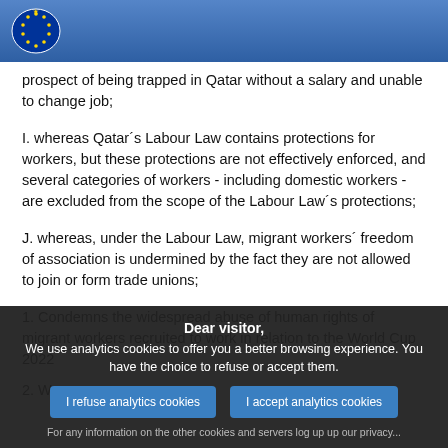European Parliament
prospect of being trapped in Qatar without a salary and unable to change job;
I. whereas Qatar´s Labour Law contains protections for workers, but these protections are not effectively enforced, and several categories of workers - including domestic workers - are excluded from the scope of the Labour Law´s protections;
J. whereas, under the Labour Law, migrant workers´ freedom of association is undermined by the fact they are not allowed to join or form trade unions;
1. Condemns the widespread abuse of human rights of migrant workers recruited to work in relation to the World Cup 2022
2. W... all...
Dear visitor, We use analytics cookies to offer you a better browsing experience. You have the choice to refuse or accept them.
I refuse analytics cookies | I accept analytics cookies
For any information on the other cookies and servers log up up our privacy...